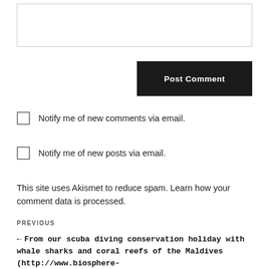[text input box]
Post Comment
Notify me of new comments via email.
Notify me of new posts via email.
This site uses Akismet to reduce spam. Learn how your comment data is processed.
PREVIOUS
← From our scuba diving conservation holiday with whale sharks and coral reefs of the Maldives (http://www.biosphere-